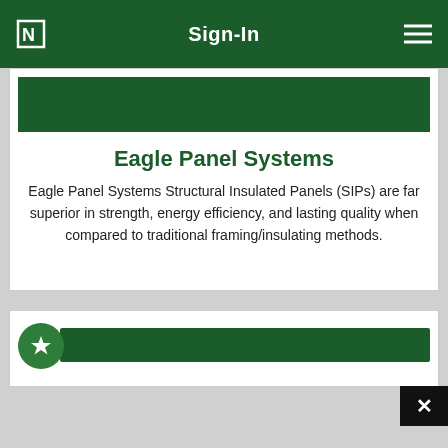Sign-In
Eagle Panel Systems
Eagle Panel Systems Structural Insulated Panels (SIPs) are far superior in strength, energy efficiency, and lasting quality when compared to traditional framing/insulating methods.
[Figure (other): Bottom card with a green star icon on the left and a dark green horizontal bar extending to the right, partially visible at the bottom of the screen. A close (x) button is visible in the bottom-right corner.]